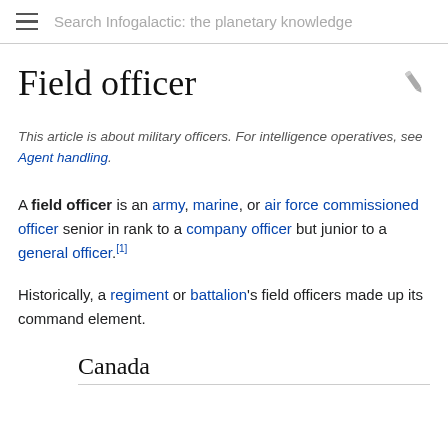Search Infogalactic: the planetary knowledge
Field officer
This article is about military officers. For intelligence operatives, see Agent handling.
A field officer is an army, marine, or air force commissioned officer senior in rank to a company officer but junior to a general officer.[1]
Historically, a regiment or battalion's field officers made up its command element.
Canada